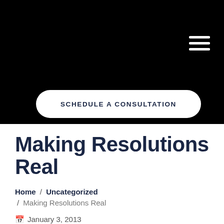[Figure (screenshot): Black navigation header bar with hamburger menu icon (three white horizontal lines) in top right corner]
SCHEDULE A CONSULTATION
Making Resolutions Real
Home / Uncategorized / Making Resolutions Real
January 3, 2013